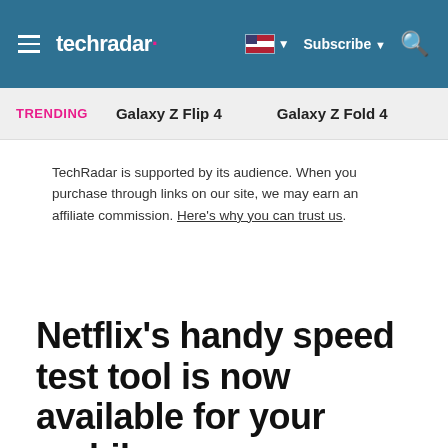techradar | Subscribe | Search
TRENDING   Galaxy Z Flip 4   Galaxy Z Fold 4
TechRadar is supported by its audience. When you purchase through links on our site, we may earn an affiliate commission. Here's why you can trust us.
Netflix's handy speed test tool is now available for your mobile